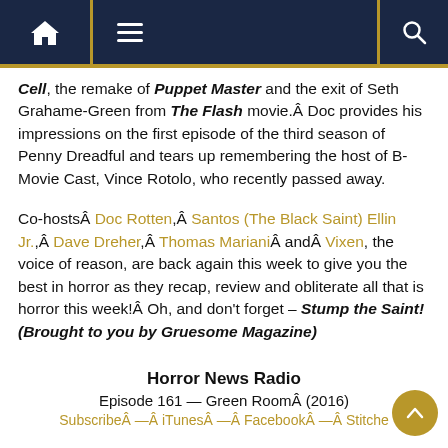Navigation bar with home, menu, and search icons
Cell, the remake of Puppet Master and the exit of Seth Grahame-Green from The Flash movie.Â Doc provides his impressions on the first episode of the third season of Penny Dreadful and tears up remembering the host of B-Movie Cast, Vince Rotolo, who recently passed away.
Co-hostsÂ Doc Rotten,Â Santos (The Black Saint) Ellin Jr.,Â Dave Dreher,Â Thomas MarianiÂ andÂ Vixen, the voice of reason, are back again this week to give you the best in horror as they recap, review and obliterate all that is horror this week!Â Oh, and don’t forget – Stump the Saint! (Brought to you by Gruesome Magazine)
Horror News Radio
Episode 161 — Green RoomÂ (2016)
SubscribeÂ —Â iTunesÂ —Â FacebookÂ —Â Stitcher